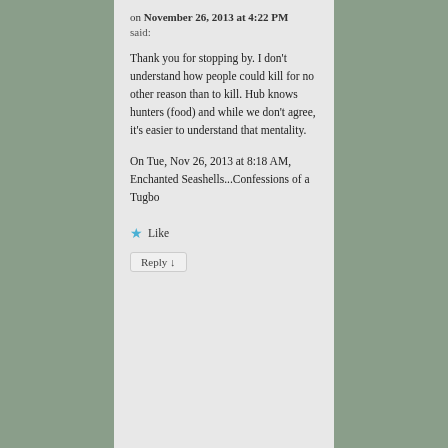on November 26, 2013 at 4:22 PM
said:
Thank you for stopping by. I don't understand how people could kill for no other reason than to kill. Hub knows hunters (food) and while we don't agree, it's easier to understand that mentality.
On Tue, Nov 26, 2013 at 8:18 AM, Enchanted Seashells...Confessions of a Tugbo
Like
Reply ↓